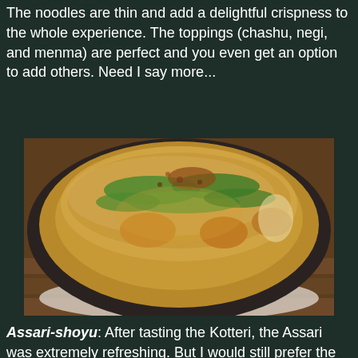The noodles are thin and add a delightful crispness to the whole experience. The toppings (chashu, negi, and menma) are perfect and you even get an option to add others. Need I say more...
[Figure (photo): A bowl of ramen soup topped with green onions, ground sesame or breadcrumbs, noodles in a golden broth, served in a dark ceramic bowl on a wooden surface.]
Assari-shoyu: After tasting the Kotteri, the Assari was extremely refreshing. But I would still prefer the more intense Kotteri any day. That's not to say the Assari was bad. It still rocks and would bury most other ramen out there.